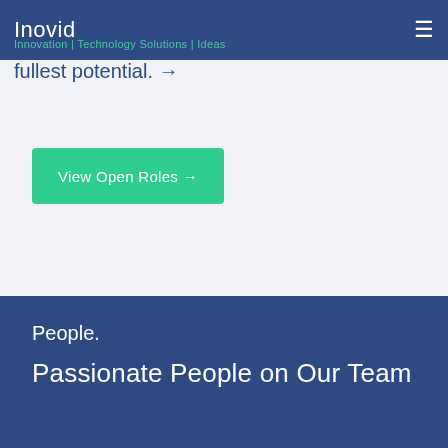Inovid
Innovation | Technology Solutions | Ideas
fullest potential. →
View Open Roles →
People.
Passionate People on Our Team